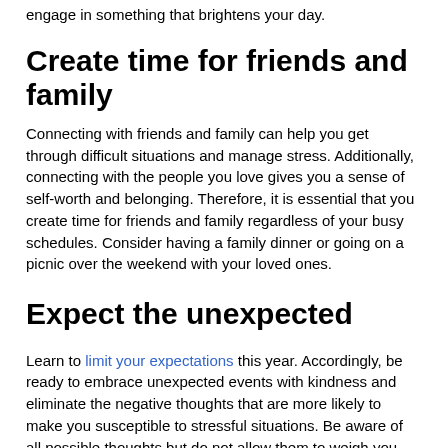engage in something that brightens your day.
Create time for friends and family
Connecting with friends and family can help you get through difficult situations and manage stress. Additionally, connecting with the people you love gives you a sense of self-worth and belonging. Therefore, it is essential that you create time for friends and family regardless of your busy schedules. Consider having a family dinner or going on a picnic over the weekend with your loved ones.
Expect the unexpected
Learn to limit your expectations this year. Accordingly, be ready to embrace unexpected events with kindness and eliminate the negative thoughts that are more likely to make you susceptible to stressful situations. Be aware of all possible thoughts but do not allow them to weigh you down.